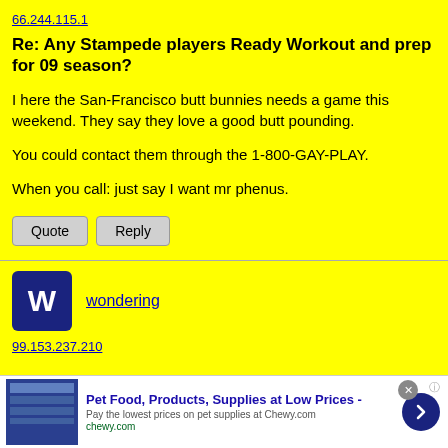66.244.115.1
Re: Any Stampede players Ready Workout and prep for 09 season?
I here the San-Francisco butt bunnies needs a game this weekend. They say they love a good butt pounding.

You could contact them through the 1-800-GAY-PLAY.

When you call: just say I want mr phenus.
wondering
99.153.237.210
[Figure (infographic): Ad banner for Chewy.com pet food and supplies]